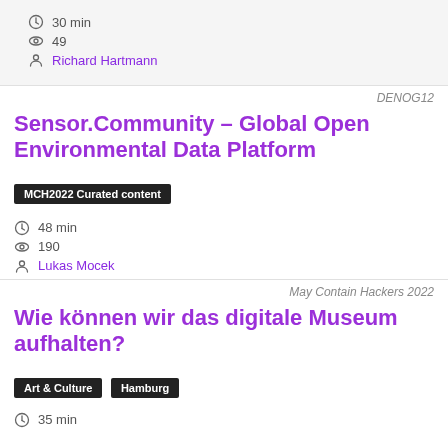30 min
49
Richard Hartmann
DENOG12
Sensor.Community - Global Open Environmental Data Platform
MCH2022 Curated content
48 min
190
Lukas Mocek
May Contain Hackers 2022
Wie können wir das digitale Museum aufhalten?
Art & Culture
Hamburg
35 min